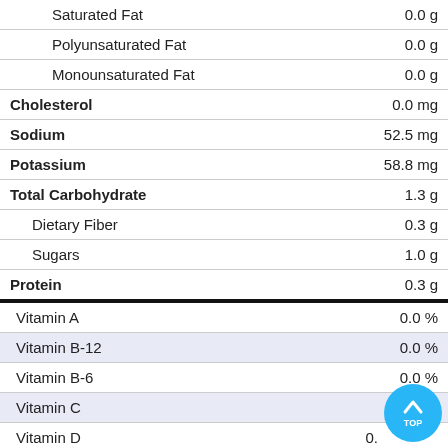| Nutrient | Amount |
| --- | --- |
| Saturated Fat | 0.0 g |
| Polyunsaturated Fat | 0.0 g |
| Monounsaturated Fat | 0.0 g |
| Cholesterol | 0.0 mg |
| Sodium | 52.5 mg |
| Potassium | 58.8 mg |
| Total Carbohydrate | 1.3 g |
| Dietary Fiber | 0.3 g |
| Sugars | 1.0 g |
| Protein | 0.3 g |
| Vitamin A | 0.0 % |
| Vitamin B-12 | 0.0 % |
| Vitamin B-6 | 0.0 % |
| Vitamin C | 0.0 % |
| Vitamin D | 0.0 % |
| Vitamin E | 0.0 % |